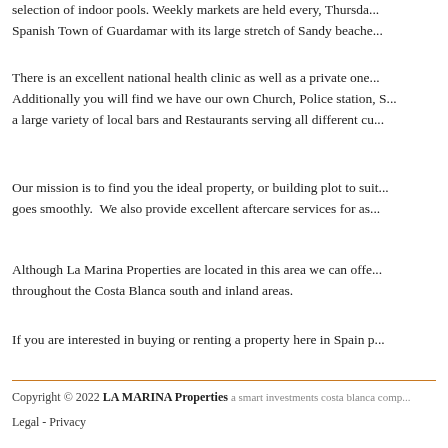selection of indoor pools. Weekly markets are held every Thursday in the Spanish Town of Guardamar with its large stretch of Sandy beache...
There is an excellent national health clinic as well as a private one... Additionally you will find we have our own Church, Police station, S... a large variety of local bars and Restaurants serving all different cu...
Our mission is to find you the ideal property, or building plot to suit... goes smoothly. We also provide excellent aftercare services for as...
Although La Marina Properties are located in this area we can offe... throughout the Costa Blanca south and inland areas.
If you are interested in buying or renting a property here in Spain p...
Copyright © 2022 LA MARINA Properties a smart investments costa blanca comp... | Legal - Privacy